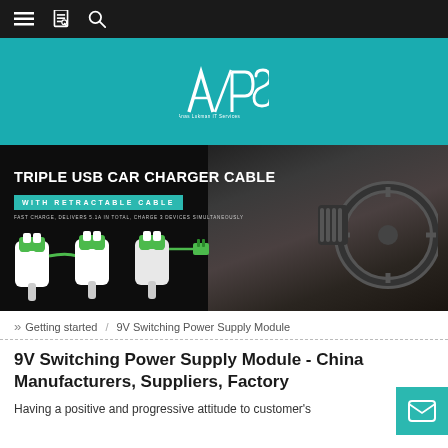Navigation bar with menu, bookmark, and search icons
[Figure (logo): APS logo in white on teal background — stylized A/P/S letters with tagline]
[Figure (photo): Product banner showing Triple USB Car Charger Cable with retractable cable. Three white and green USB car charger units displayed against a dark luxury car interior background. Text: TRIPLE USB CAR CHARGER CABLE / WITH RETRACTABLE CABLE / FAST CHARGE, DELIVERS 5.1A IN TOTAL, CHARGE 3 DEVICES SIMULTANEOUSLY]
» Getting started / 9V Switching Power Supply Module
9V Switching Power Supply Module - China Manufacturers, Suppliers, Factory
Having a positive and progressive attitude to customer's